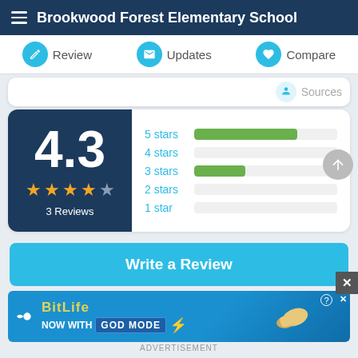Brookwood Forest Elementary School
Review  Updates  Compare
Sources
[Figure (bar-chart): Star Rating Distribution]
4.3
3 Reviews
Write a Review
[Figure (advertisement): BitLife NOW WITH GOD MODE advertisement banner]
ADVERTISEMENT